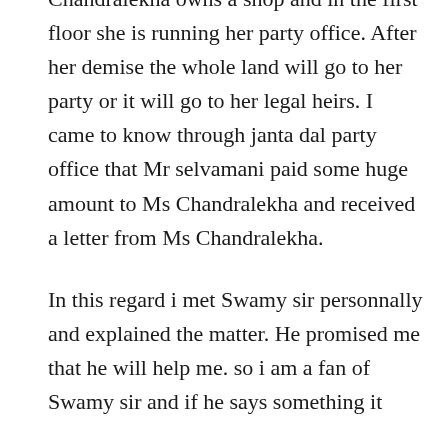Chandralekha owns a shop and in the first floor she is running her party office. After her demise the whole land will go to her party or it will go to her legal heirs. I came to know through janta dal party office that Mr selvamani paid some huge amount to Ms Chandralekha and received a letter from Ms Chandralekha.
In this regard i met Swamy sir personnally and explained the matter. He promised me that he will help me. so i am a fan of Swamy sir and if he says something it